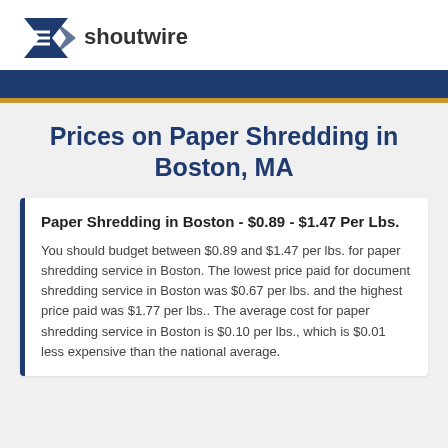shoutwire
Prices on Paper Shredding in Boston, MA
Paper Shredding in Boston - $0.89 - $1.47 Per Lbs.
You should budget between $0.89 and $1.47 per lbs. for paper shredding service in Boston. The lowest price paid for document shredding service in Boston was $0.67 per lbs. and the highest price paid was $1.77 per lbs.. The average cost for paper shredding service in Boston is $0.10 per lbs., which is $0.01 less expensive than the national average.